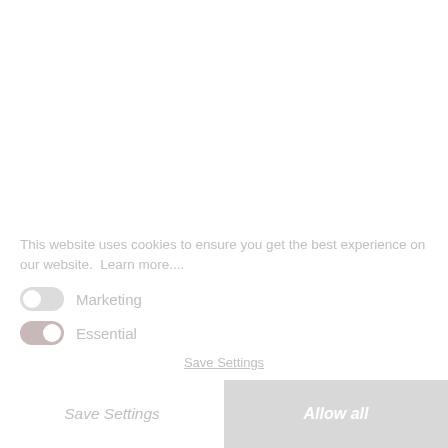This website uses cookies to ensure you get the best experience on our website.  Learn more....
Marketing (toggle off)
Essential (toggle on)
Save Settings
Save Settings | Allow all